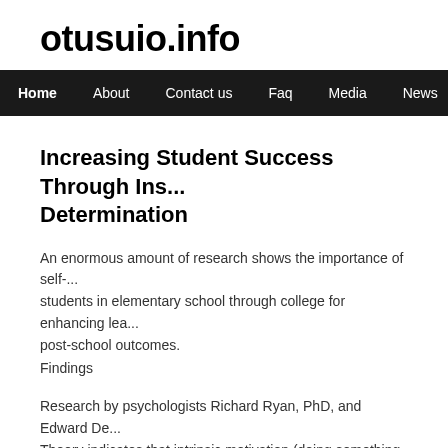otusuio.info
Home  About  Contact us  Faq  Media  News  Privacy pol...
Increasing Student Success Through Ins... Determination
An enormous amount of research shows the importance of self-... students in elementary school through college for enhancing lea... post-school outcomes.
Findings
Research by psychologists Richard Ryan, PhD, and Edward De... Theory indicates that intrinsic motivation (doing something bec... enjoyable), and thus higher quality learning, flourishes in conte...